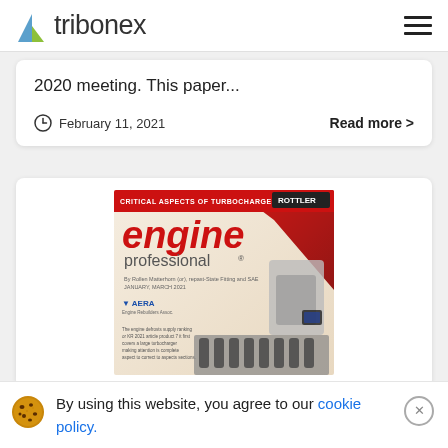tribonex
2020 meeting. This paper...
February 11, 2021
Read more >
[Figure (photo): Cover of Engine Professional magazine featuring 'Critical Aspects of Turbocharger Balancing' with a red banner, AERA logo, Schenck/Rottler branding, and an image of a balancing machine.]
By using this website, you agree to our cookie policy.